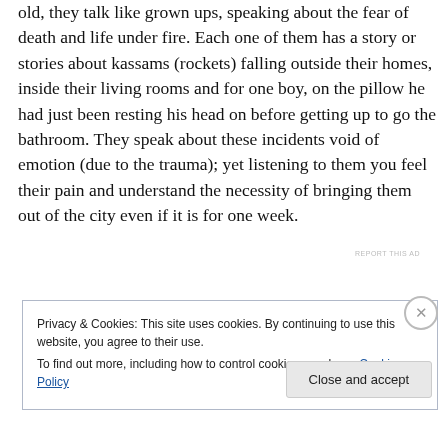old, they talk like grown ups, speaking about the fear of death and life under fire. Each one of them has a story or stories about kassams (rockets) falling outside their homes, inside their living rooms and for one boy, on the pillow he had just been resting his head on before getting up to go the bathroom. They speak about these incidents void of emotion (due to the trauma); yet listening to them you feel their pain and understand the necessity of bringing them out of the city even if it is for one week.
Privacy & Cookies: This site uses cookies. By continuing to use this website, you agree to their use.
To find out more, including how to control cookies, see here: Cookie Policy